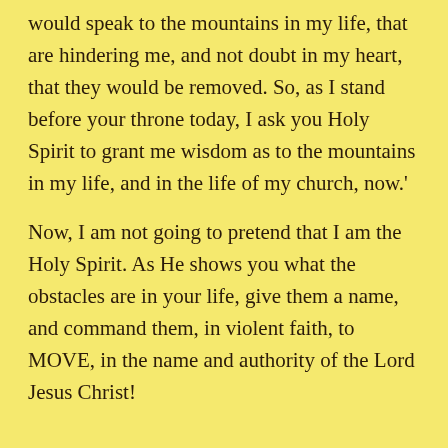would speak to the mountains in my life, that are hindering me, and not doubt in my heart, that they would be removed. So, as I stand before your throne today, I ask you Holy Spirit to grant me wisdom as to the mountains in my life, and in the life of my church, now.'
Now, I am not going to pretend that I am the Holy Spirit. As He shows you what the obstacles are in your life, give them a name, and command them, in violent faith, to MOVE, in the name and authority of the Lord Jesus Christ!